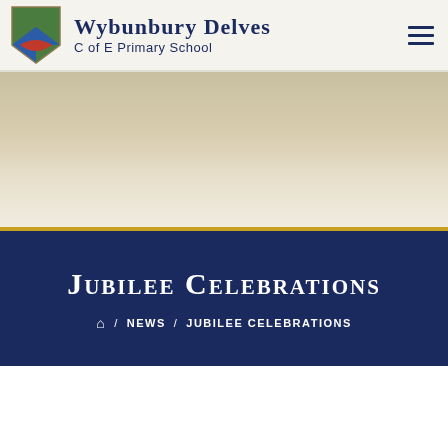Wybunbury Delves C of E Primary School
[Figure (photo): Hero banner image showing an outdoor scene, appearing muted/faded]
Jubilee Celebrations
HOME / NEWS / JUBILEE CELEBRATIONS